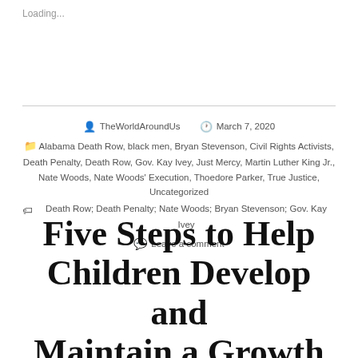Loading...
TheWorldAroundUs    March 7, 2020
Alabama Death Row, black men, Bryan Stevenson, Civil Rights Activists, Death Penalty, Death Row, Gov. Kay Ivey, Just Mercy, Martin Luther King Jr., Nate Woods, Nate Woods' Execution, Thoedore Parker, True Justice, Uncategorized
Death Row; Death Penalty; Nate Woods; Bryan Stevenson; Gov. Kay Ivey
Leave a comment
Five Steps to Help Children Develop and Maintain a Growth